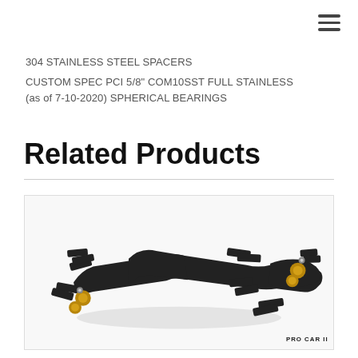304 STAINLESS STEEL SPACERS
CUSTOM SPEC PCI 5/8" COM10SST FULL STAINLESS (as of 7-10-2020) SPHERICAL BEARINGS
Related Products
[Figure (photo): Black powder-coated metal suspension control arm / track bar component with gold-colored spherical bearing hardware at each end, multiple mounting tabs/brackets, on white background. PRO CAR II branding visible at bottom right.]